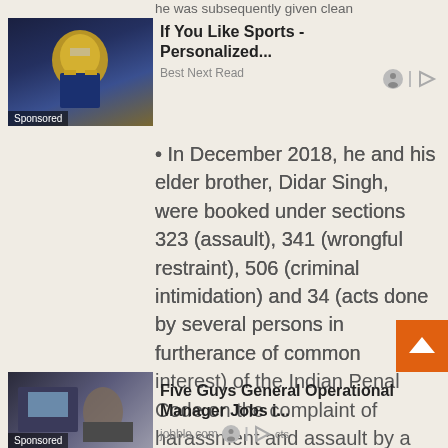he was subsequently given clean
[Figure (photo): Sports player wearing gold helmet, sponsored ad image]
If You Like Sports - Personalized...
Best Next Read
In December 2018, he and his elder brother, Didar Singh, were booked under sections 323 (assault), 341 (wrongful restraint), 506 (criminal intimidation) and 34 (acts done by several persons in furtherance of common interest) of the Indian Penal Code on the complaint of harassment and assault by a bank manager, Sachin Sharma.
Sardar Singh was banned from international hockey for 2 years in August 2011 on disciplinary grounds. However, the ban was
[Figure (photo): Person at desk, Five Guys General Operational Manager Jobs sponsored ad]
Five Guys General Operational Manager Jobs i...
jobble.com